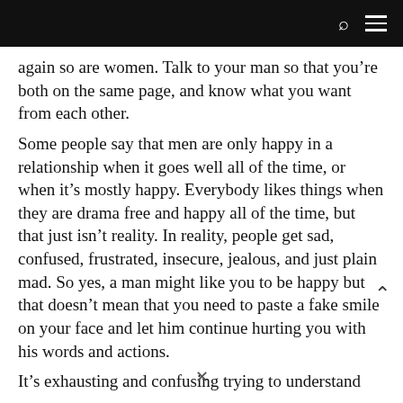again so are women. Talk to your man so that you're both on the same page, and know what you want from each other.
Some people say that men are only happy in a relationship when it goes well all of the time, or when it's mostly happy. Everybody likes things when they are drama free and happy all of the time, but that just isn't reality. In reality, people get sad, confused, frustrated, insecure, jealous, and just plain mad. So yes, a man might like you to be happy but that doesn't mean that you need to paste a fake smile on your face and let him continue hurting you with his words and actions.
It's exhausting and confusing trying to understand